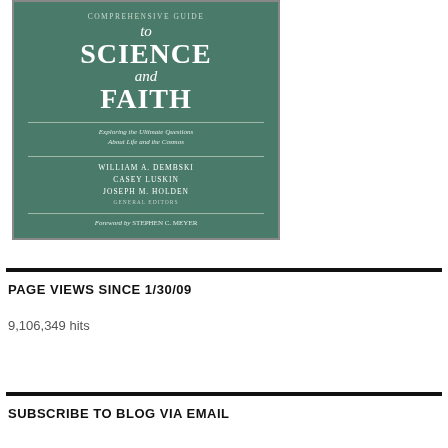[Figure (illustration): Book cover for 'Comprehensive Guide to Science and Faith: Exploring the Ultimate Questions About Life and the Cosmos' by William A. Dembski, Casey Luskin, Joseph M. Holden (General Editors), Foreword by Stephen C. Meyer. Green background with white text.]
PAGE VIEWS SINCE 1/30/09
9,106,349 hits
SUBSCRIBE TO BLOG VIA EMAIL